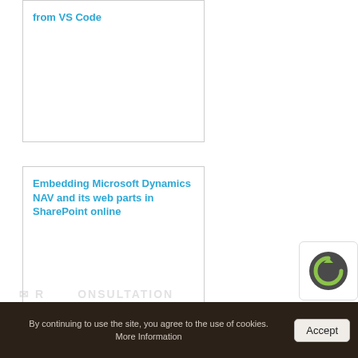from VS Code
Embedding Microsoft Dynamics NAV and its web parts in SharePoint online
By continuing to use the site, you agree to the use of cookies. More Information
Accept